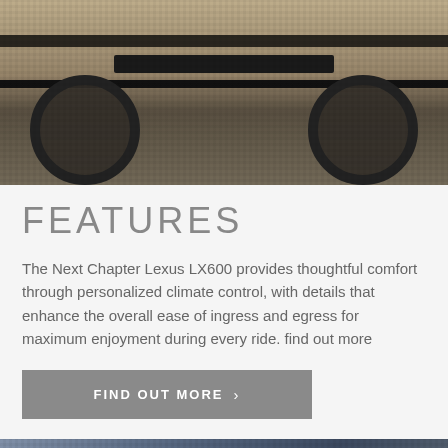[Figure (photo): Blurred/pixelated exterior photo of a Lexus LX600 vehicle, showing the undercarriage and wheels area]
FEATURES
The Next Chapter Lexus LX600 provides thoughtful comfort through personalized climate control, with details that enhance the overall ease of ingress and egress for maximum enjoyment during every ride. find out more
FIND OUT MORE >
[Figure (photo): Blurred/pixelated photo of a car interior with a circular Video Call button overlay showing a video call icon]
Video Call